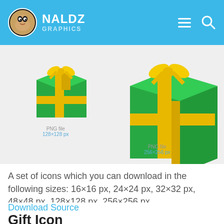NALDZ GRAPHICS
[Figure (screenshot): Two green gift boxes with gold/yellow ribbon shown at different sizes - 128x128px and 256x256px]
PNG file
128×128 px
PNG file
256×256 px
A set of icons which you can download in the following sizes: 16×16 px, 24×24 px, 32×32 px, 48×48 px, 128×128 px, 256×256 px.
Download Source
Gift Icon